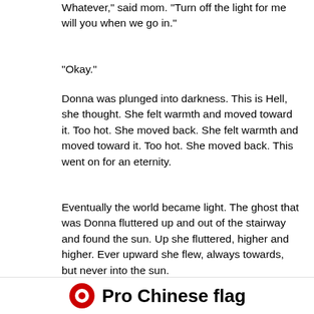Whatever," said mom. "Turn off the light for me will you when we go in."
"Okay."
Donna was plunged into darkness. This is Hell, she thought. She felt warmth and moved toward it. Too hot. She moved back. She felt warmth and moved toward it. Too hot. She moved back. This went on for an eternity.
Eventually the world became light. The ghost that was Donna fluttered up and out of the stairway and found the sun. Up she fluttered, higher and higher. Ever upward she flew, always towards, but never into the sun.
Photo Posted Thursday, April 10, 2008  •  (2008) Karlsruhe, Germany   •  © 2008 Bryan Costales
[cc] BY-NC
#BP20080410.jpg
Add a comment or report a mistake
[Figure (logo): Pro Chinese flag logo with red circle and text]